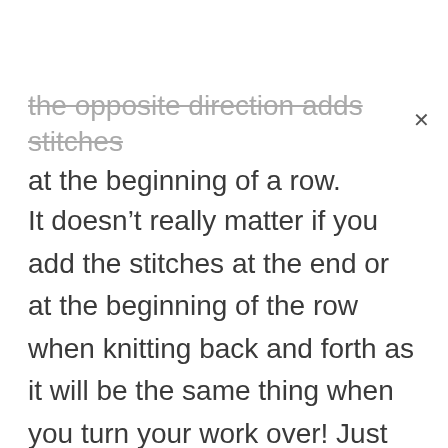the opposite direction adds stitches at the beginning of a row.
It doesn't really matter if you add the stitches at the end or at the beginning of the row when knitting back and forth as it will be the same thing when you turn your work over! Just check that you add the stitches at the right side 🙂